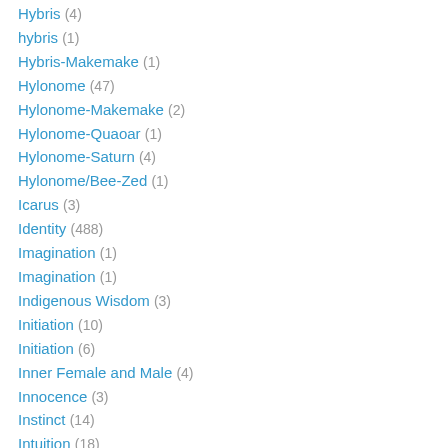Hybris (4)
hybris (1)
Hybris-Makemake (1)
Hylonome (47)
Hylonome-Makemake (2)
Hylonome-Quaoar (1)
Hylonome-Saturn (4)
Hylonome/Bee-Zed (1)
Icarus (3)
Identity (488)
Imagination (1)
Imagination (1)
Indigenous Wisdom (3)
Initiation (10)
Initiation (6)
Inner Female and Male (4)
Innocence (3)
Instinct (14)
Intuition (18)
Ixion (73)